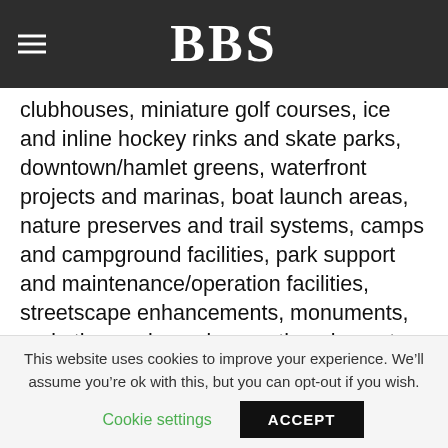BBS
clubhouses, miniature golf courses, ice and inline hockey rinks and skate parks, downtown/hamlet greens, waterfront projects and marinas, boat launch areas, nature preserves and trail systems, camps and campground facilities, park support and maintenance/operation facilities, streetscape enhancements, monuments, and other parks and recreation elements.
PLAYGROUND DESIGN
At BBS we channel our “inner child” into design themes and elements which can only be discovered and experienced through play. We design outdoor
This website uses cookies to improve your experience. We’ll assume you’re ok with this, but you can opt-out if you wish.
Cookie settings  ACCEPT